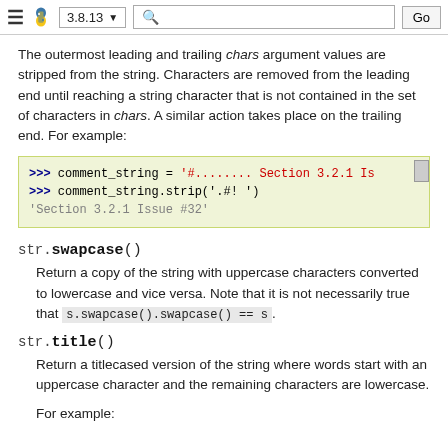3.8.13  [search]  Go
The outermost leading and trailing chars argument values are stripped from the string. Characters are removed from the leading end until reaching a string character that is not contained in the set of characters in chars. A similar action takes place on the trailing end. For example:
[Figure (screenshot): Python REPL code block showing: >>> comment_string = '#........ Section 3.2.1 Is... >>> comment_string.strip('.#! ') 'Section 3.2.1 Issue #32']
str.swapcase()
Return a copy of the string with uppercase characters converted to lowercase and vice versa. Note that it is not necessarily true that s.swapcase().swapcase() == s.
str.title()
Return a titlecased version of the string where words start with an uppercase character and the remaining characters are lowercase.
For example: